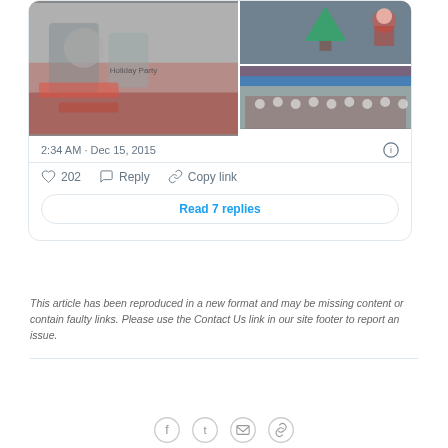[Figure (photo): Tweet card showing holiday party photos: left image shows people at a table with crafts and decorations, top right shows a Christmas tree with Santa, bottom right shows a large group photo of people in red shirts in front of a banner]
2:34 AM · Dec 15, 2015
202  Reply  Copy link
Read 7 replies
This article has been reproduced in a new format and may be missing content or contain faulty links. Please use the Contact Us link in our site footer to report an issue.
[Figure (other): Social sharing icons: Facebook, Twitter, Email, Link]